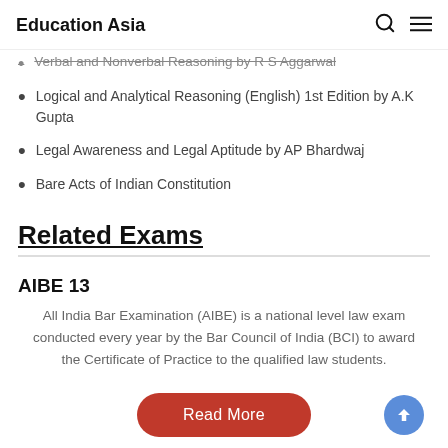Education Asia
Verbal and Nonverbal Reasoning by R S Aggarwal
Logical and Analytical Reasoning (English) 1st Edition by A.K Gupta
Legal Awareness and Legal Aptitude by AP Bhardwaj
Bare Acts of Indian Constitution
Related Exams
AIBE 13
All India Bar Examination (AIBE) is a national level law exam conducted every year by the Bar Council of India (BCI) to award the Certificate of Practice to the qualified law students.